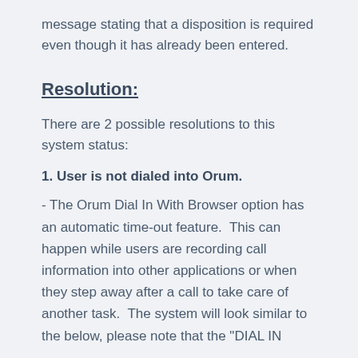message stating that a disposition is required even though it has already been entered.
Resolution:
There are 2 possible resolutions to this system status:
1. User is not dialed into Orum.
- The Orum Dial In With Browser option has an automatic time-out feature.  This can happen while users are recording call information into other applications or when they step away after a call to take care of another task.  The system will look similar to the below, please note that the "DIAL IN